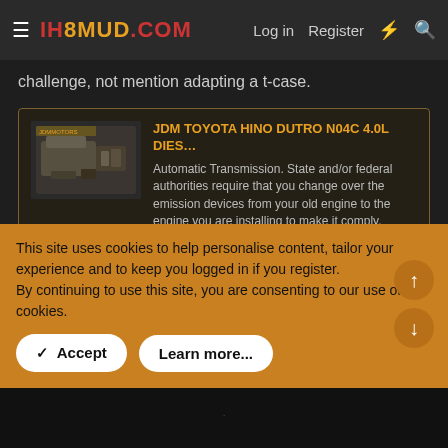IH8MUD.COM  Log in  Register
challenge, not mention adapting a t-case.
[Figure (screenshot): Embedded link card for JDM Toyota Hino Dutro N04C 4.0L diesel engine listing on eBay, showing thumbnail image of engine, title, description about automatic transmission and emission devices, and ebay URL]
Factory manual for the N04CT w/ manual trans is all I
This site uses cookies to help personalise content, tailor your experience and to keep you logged in if you register.
By continuing to use this site, you are consenting to our use of cookies.
Accept  Learn more...